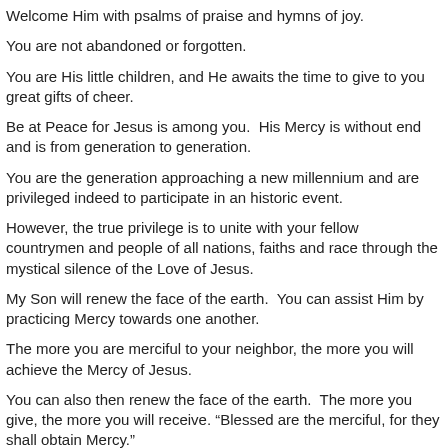Welcome Him with psalms of praise and hymns of joy.
You are not abandoned or forgotten.
You are His little children, and He awaits the time to give to you great gifts of cheer.
Be at Peace for Jesus is among you.  His Mercy is without end and is from generation to generation.
You are the generation approaching a new millennium and are privileged indeed to participate in an historic event.
However, the true privilege is to unite with your fellow countrymen and people of all nations, faiths and race through the mystical silence of the Love of Jesus.
My Son will renew the face of the earth.  You can assist Him by practicing Mercy towards one another.
The more you are merciful to your neighbor, the more you will achieve the Mercy of Jesus.
You can also then renew the face of the earth.  The more you give, the more you will receive. “Blessed are the merciful, for they shall obtain Mercy.”